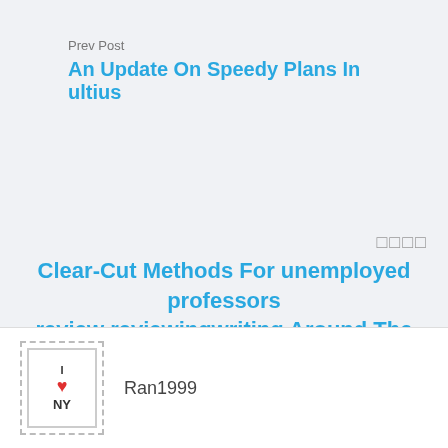Prev Post
An Update On Speedy Plans In ultius
□□□□
Clear-Cut Methods For unemployed professors review reviewingwriting Around The Usa
[Figure (illustration): I Love NY postage stamp illustration with a heart symbol]
Ran1999